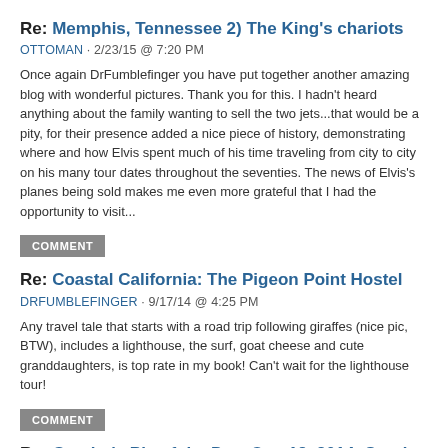Re: Memphis, Tennessee 2) The King's chariots
OTTOMAN · 2/23/15  @  7:20 PM
Once again DrFumblefinger you have put together another amazing blog with wonderful pictures. Thank you for this. I hadn't heard anything about the family wanting to sell the two jets...that would be a pity, for their presence added a nice piece of history, demonstrating where and how Elvis spent much of his time traveling from city to city on his many tour dates throughout the seventies. The news of Elvis's planes being sold makes me even more grateful that I had the opportunity to visit...
COMMENT
Re: Coastal California: The Pigeon Point Hostel
DRFUMBLEFINGER · 9/17/14  @  4:25 PM
Any travel tale that starts with a road trip following giraffes (nice pic, BTW), includes a lighthouse, the surf, goat cheese and cute granddaughters, is top rate in my book! Can't wait for the lighthouse tour!
COMMENT
Re: Gumbo's Pic of the Day, Oct. 12, 2014: Sunday in the Park with Dog